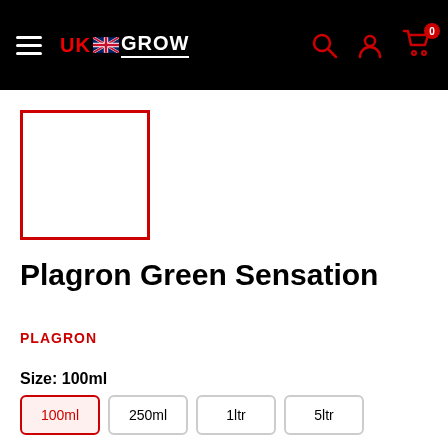UK GROW — navigation header with hamburger menu, logo, search, account, and cart icons
[Figure (photo): Product image placeholder — empty white box with red border]
Plagron Green Sensation
PLAGRON
Size: 100ml
100ml  250ml  1ltr  5ltr